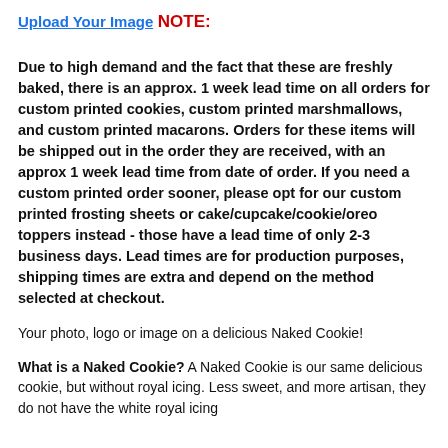Upload Your Image
NOTE:
Due to high demand and the fact that these are freshly baked, there is an approx. 1 week lead time on all orders for custom printed cookies, custom printed marshmallows, and custom printed macarons. Orders for these items will be shipped out in the order they are received, with an approx 1 week lead time from date of order. If you need a custom printed order sooner, please opt for our custom printed frosting sheets or cake/cupcake/cookie/oreo toppers instead - those have a lead time of only 2-3 business days. Lead times are for production purposes, shipping times are extra and depend on the method selected at checkout.
Your photo, logo or image on a delicious Naked Cookie!
What is a Naked Cookie? A Naked Cookie is our same delicious cookie, but without royal icing. Less sweet, and more artisan, they do not have the white royal icing